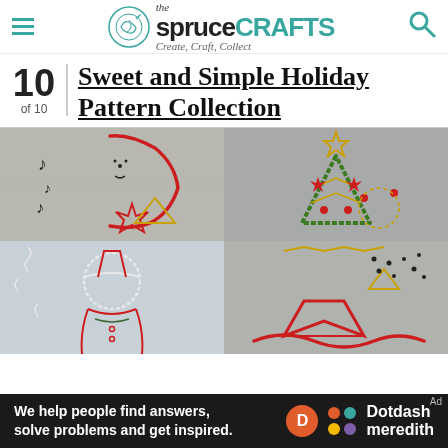the spruce CRAFTS — Create, Craft, Collect
Sweet and Simple Holiday Pattern Collection
10 of 10
[Figure (photo): Four-panel close-up photo of hand embroidery holiday patterns on fabric: top-left shows a snowman outline in red and black thread with gold accents; top-right shows a Christmas tree in green chain stitch with red and gold decorations; bottom-left shows a Santa Claus outline in white and red thread; bottom-right shows scattered holiday motifs in red, black, and gold thread on gray fabric.]
We help people find answers, solve problems and get inspired. Dotdash meredith